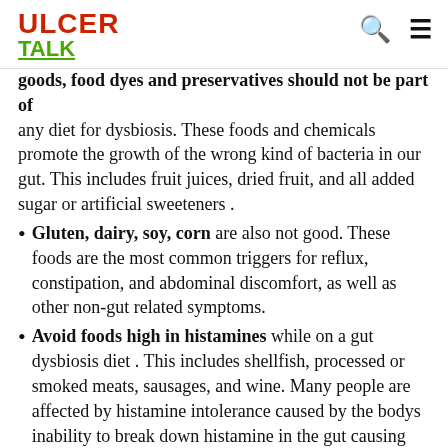ULCER TALK
goods, food dyes and preservatives should not be part of any diet for dysbiosis. These foods and chemicals promote the growth of the wrong kind of bacteria in our gut. This includes fruit juices, dried fruit, and all added sugar or artificial sweeteners .
Gluten, dairy, soy, corn are also not good. These foods are the most common triggers for reflux, constipation, and abdominal discomfort, as well as other non-gut related symptoms.
Avoid foods high in histamines while on a gut dysbiosis diet . This includes shellfish, processed or smoked meats, sausages, and wine. Many people are affected by histamine intolerance caused by the bodys inability to break down histamine in the gut causing crazy allergy reactions. Reactions to histamines can look like allergic reactions, including nasal congestion as well as headaches, dizziness